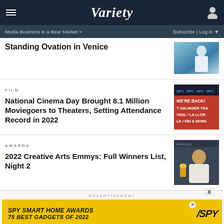VARIETY
Media Business in a Bear Market > | Subscribe | Log in
Standing Ovation in Venice
FILM
National Cinema Day Brought 8.1 Million Moviegoers to Theaters, Setting Attendance Record in 2022
[Figure (photo): Cinema marquee showing WE'RE BACK! Y SALINGER YEA VIGIL / LA LLOR LK / FBI & MORE]
AWARDS
2022 Creative Arts Emmys: Full Winners List, Night 2
[Figure (photo): Man in white suit at Emmys awards ceremony]
ADVERTISEMENT
[Figure (infographic): SPY Smart Home Awards 75 Best Gadgets of 2022 advertisement banner]